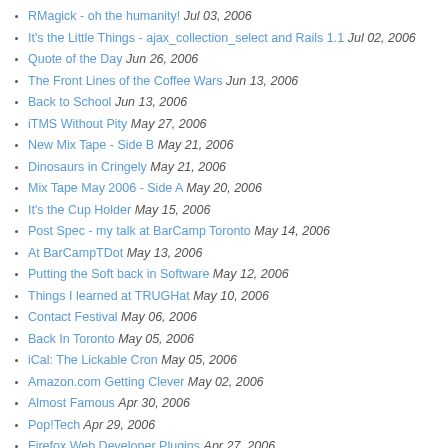RMagick - oh the humanity! Jul 03, 2006
It's the Little Things - ajax_collection_select and Rails 1.1 Jul 02, 2006
Quote of the Day Jun 26, 2006
The Front Lines of the Coffee Wars Jun 13, 2006
Back to School Jun 13, 2006
iTMS Without Pity May 27, 2006
New Mix Tape - Side B May 21, 2006
Dinosaurs in Cringely May 21, 2006
Mix Tape May 2006 - Side A May 20, 2006
It's the Cup Holder May 15, 2006
Post Spec - my talk at BarCamp Toronto May 14, 2006
At BarCampTDot May 13, 2006
Putting the Soft back in Software May 12, 2006
Things I learned at TRUGHat May 10, 2006
Contact Festival May 06, 2006
Back In Toronto May 05, 2006
iCal: The Lickable Cron May 05, 2006
Amazon.com Getting Clever May 02, 2006
Almost Famous Apr 30, 2006
Pop!Tech Apr 29, 2006
Firefox Web Developer Plugins Apr 27, 2006